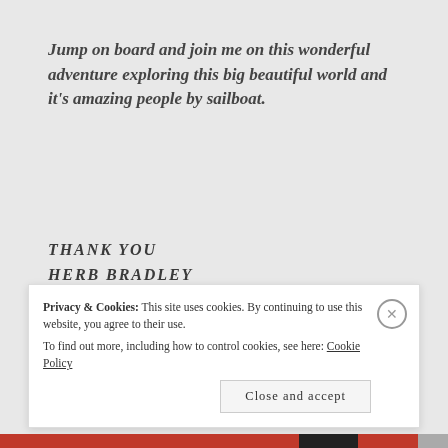Jump on board and join me on this wonderful adventure exploring this big beautiful world and it's amazing people by sailboat.
THANK YOU
HERB BRADLEY
SKIPPER S/V MICA
Share this:
Privacy & Cookies: This site uses cookies. By continuing to use this website, you agree to their use. To find out more, including how to control cookies, see here: Cookie Policy
Close and accept